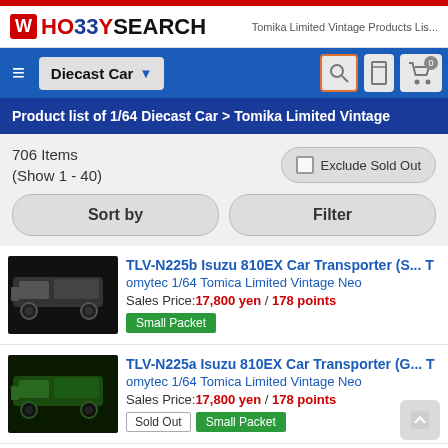HO33Y SEARCH — Tomika Limited Vintage Products Lis...
Product list of 1/64 Diecast Car > Tomika Limited Vintage
706 Items (Show 1 - 40)
Exclude Sold Out
Sort by
Filter
TLV-N225b Isuzu 810EX Car Transporter (S... Tomytec 1/64 Tomica Limited Vintage Neo
Sales Price: 17,800 yen / 178 points
Small Packet
TLV-N225a Isuzu 810EX Car Transporter (G... Tomytec 1/64 Tomica Limited Vintage Neo
Sales Price: 17,800 yen / 178 points
Sold Out  Small Packet
TLV-N211a Isuzu 810EX Wing Roof Trailer ... Tomytec 1/64 Tomica Limited Vintage Neo